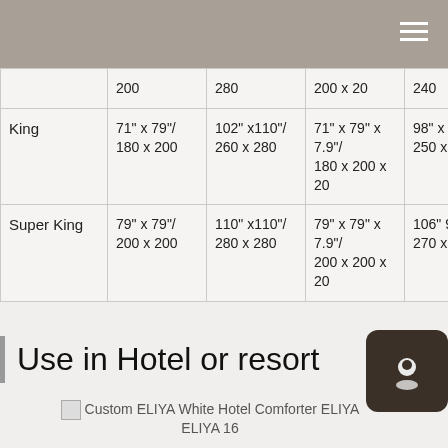|  | 200 | 280 | 200 x 20 | 240 |
| King | 71" x 79"/ 180 x 200 | 102" x110"/ 260 x 280 | 71" x 79" x 7.9"/ 180 x 200 x 20 | 98" x 94"/ 250 x 240 |
| Super King | 79" x 79"/ 200 x 200 | 110" x110"/ 280 x 280 | 79" x 79" x 7.9"/ 200 x 200 x 20 | 106" 94"/ 270 x 240 |
Use in Hotel or resort
[Figure (photo): Custom ELIYA White Hotel Comforter ELIYA ELIYA 16]